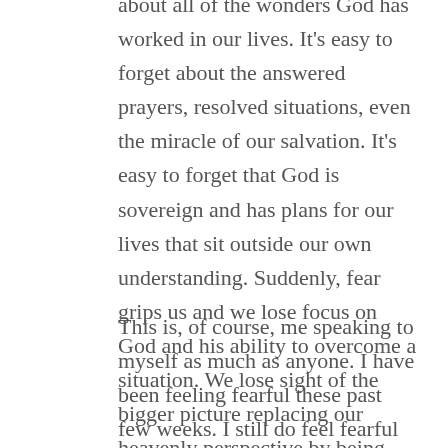about all of the wonders God has worked in our lives. It's easy to forget about the answered prayers, resolved situations, even the miracle of our salvation. It's easy to forget that God is sovereign and has plans for our lives that sit outside our own understanding. Suddenly, fear grips us and we lose focus on God and his ability to overcome a situation. We lose sight of the bigger picture replacing our heavenly perspective by being submersed in fear.
This is, of course, me speaking to myself as much as anyone. I have been feeling fearful these past few weeks. I still do feel fearful but actually my attitude can easily be and should be one of turning to God. Not that turning to God means that I don't focus on the situation and take it seriously - God wants us to be realistic, to have